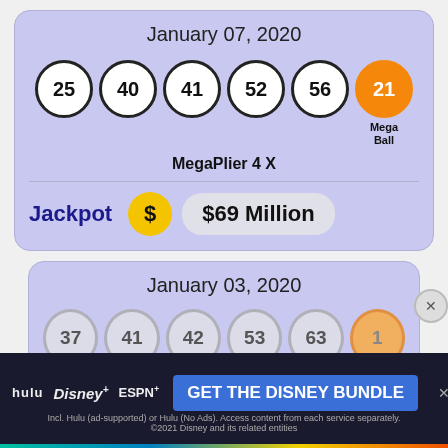January 07, 2020
[Figure (infographic): Mega Millions lottery balls: 25, 40, 41, 52, 56 (white balls) and 21 (orange Mega Ball)]
MegaPlier 4 X
Jackpot $69 Million
January 03, 2020
[Figure (infographic): Partially visible lottery balls: 37, 41, 42, 53, 63 and orange ball]
[Figure (infographic): Disney Bundle advertisement: hulu Disney+ ESPN+ GET THE DISNEY BUNDLE]